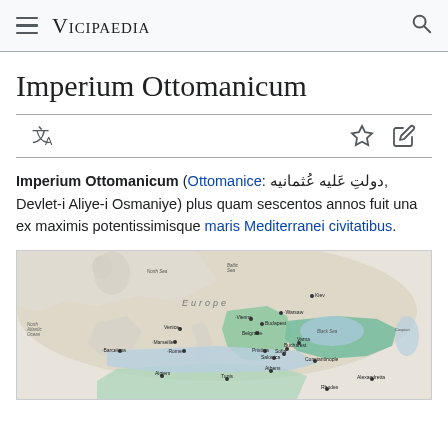Vicipaedia
Imperium Ottomanicum
Imperium Ottomanicum (Ottomanice: دولتِ عَليه عُثمانيه, Devlet-i Aliye-i Osmaniye) plus quam sescentos annos fuit una ex maximis potentissimisque maris Mediterranei civitatibus.
[Figure (map): Map of the Ottoman Empire showing its extent over Europe, North Africa, and the Middle East, with color-coded regions indicating different periods of expansion. Labels include European cities such as Vienna, Budapest, Belgrade, Venice, Rome, Salonica, Athens, Algiers, Tunis, and others.]